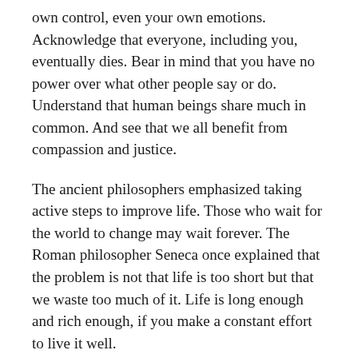own control, even your own emotions. Acknowledge that everyone, including you, eventually dies. Bear in mind that you have no power over what other people say or do. Understand that human beings share much in common. And see that we all benefit from compassion and justice.
The ancient philosophers emphasized taking active steps to improve life. Those who wait for the world to change may wait forever. The Roman philosopher Seneca once explained that the problem is not that life is too short but that we waste too much of it. Life is long enough and rich enough, if you make a constant effort to live it well.
Of course, not everything works out for the best. Sometimes tragedy occurs. And sometimes we make mistakes. But we cannot give up because of tragedy or fret over our mistakes. Strength, courage, resilience and tenacity are required at all times.